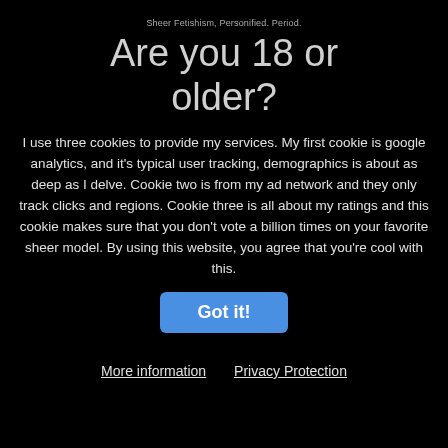Sheer Fetishism, Personified. Period.
Are you 18 or older?
I use three cookies to provide my services. My first cookie is google analytics, and it's typical user tracking, demographics is about as deep as I delve. Cookie two is from my ad network and they only track clicks and regions. Cookie three is all about my ratings and this cookie makes sure that you don't vote a billion times on your favorite sheer model. By using this website, you agree that you're cool with this.
Got it!
More information   Privacy Protection